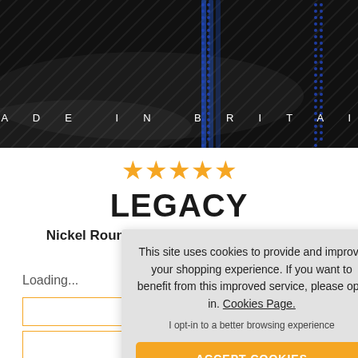[Figure (photo): Dark product banner with 'MADE IN BRITAIN' text in white with letter-spacing, blue dotted/stripe vertical accents on black textured background]
[Figure (other): Five orange star rating symbols]
LEGACY
Nickel Roundwound 5-String Bass Guitar Strings
Loading...
[Figure (screenshot): Cookie consent popup overlay with text: 'This site uses cookies to provide and improve your shopping experience. If you want to benefit from this improved service, please opt-in. Cookies Page. I opt-in to a better browsing experience' and an orange ACCEPT COOKIES button]
EMAIL A FRIEND